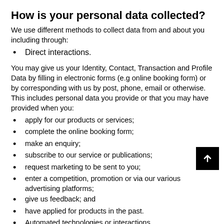How is your personal data collected?
We use different methods to collect data from and about you including through:
Direct interactions.
You may give us your Identity, Contact, Transaction and Profile Data by filling in electronic forms (e.g online booking form) or by corresponding with us by post, phone, email or otherwise. This includes personal data you provide or that you may have provided when you:
apply for our products or services;
complete the online booking form;
make an enquiry;
subscribe to our service or publications;
request marketing to be sent to you;
enter a competition, promotion or via our various advertising platforms;
give us feedback; and
have applied for products in the past.
Automated technologies or interactions.